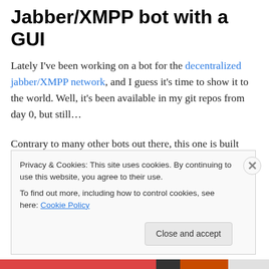Jabber/XMPP bot with a GUI
Lately I've been working on a bot for the decentralized jabber/XMPP network, and I guess it's time to show it to the world. Well, it's been available in my git repos from day 0, but still…
Contrary to many other bots out there, this one is built around a GUI to configure and manage it. This means it needs a graphical environment. I might decouple it into GUI and core in the future, but for now…
Privacy & Cookies: This site uses cookies. By continuing to use this website, you agree to their use.
To find out more, including how to control cookies, see here: Cookie Policy
Close and accept